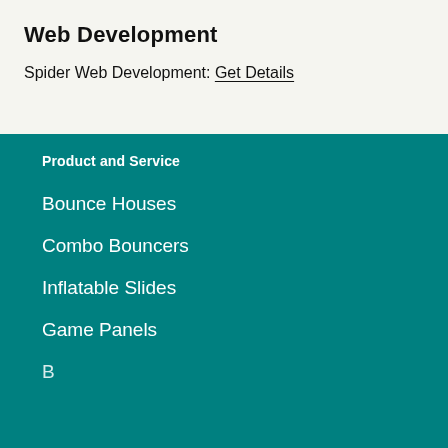Web Development
Spider Web Development: Get Details
Product and Service
Bounce Houses
Combo Bouncers
Inflatable Slides
Game Panels